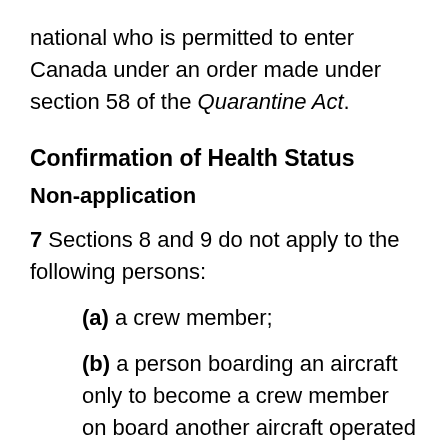national who is permitted to enter Canada under an order made under section 58 of the Quarantine Act.
Confirmation of Health Status
Non-application
7 Sections 8 and 9 do not apply to the following persons:
(a) a crew member;
(b) a person boarding an aircraft only to become a crew member on board another aircraft operated by an air carrier;